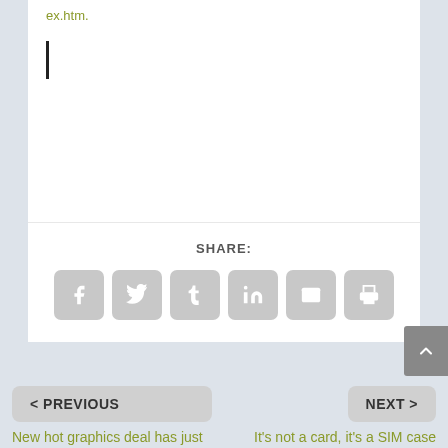ex.htm.
[Figure (screenshot): Text cursor (blinking cursor bar)]
SHARE:
[Figure (infographic): Social share buttons: Facebook, Twitter, Tumblr, LinkedIn, Email, Print]
[Figure (other): Scroll to top button with upward chevron]
< PREVIOUS
New hot graphics deal has just arrived
NEXT >
It's not a card, it's a SIM case